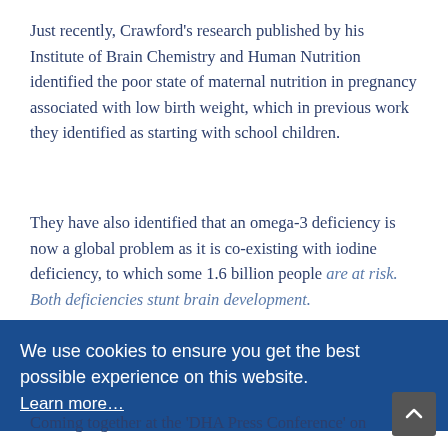Just recently, Crawford's research published by his Institute of Brain Chemistry and Human Nutrition identified the poor state of maternal nutrition in pregnancy associated with low birth weight, which in previous work they identified as starting with school children.
They have also identified that an omega-3 deficiency is now a global problem as it is co-existing with iodine deficiency, to which some 1.6 billion people are at risk. Both deficiencies stunt brain development.
This global issue amplifies the urgent need for action, especially at the start of life, to prevent incidence of brain disorders and mental ill health continuing to rise this century as heart disease did last.
Coming together at the 'DHA Press Conference' on